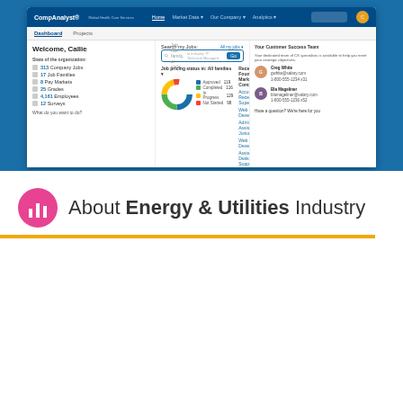[Figure (screenshot): CompAnalyst web application dashboard screenshot showing navigation bar, welcome panel with stats (313 Company Jobs, 17 Job Families, 8 Pay Markets, 25 Grades, 4,161 Employees, 12 Surveys), job search bar, donut chart of job pricing status, recent found market companies list, and customer success panel with contact info.]
About Energy & Utilities Industry
This site uses cookies and other similar technologies to provide site functionality, analyze traffic and usage, and deliver content tailored to your interests. | Learn More
I Accept